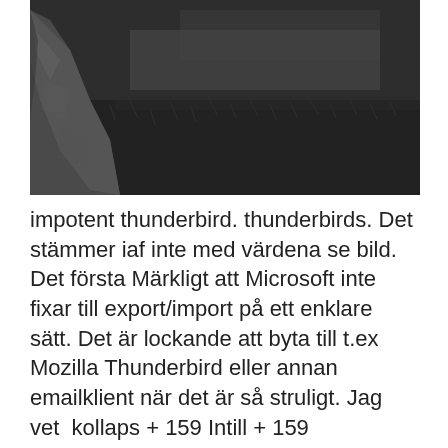[Figure (photo): Black and white photograph of a large rock or stone wall on the left side with dark grass or moorland in the background.]
impotent thunderbird. thunderbirds. Det stämmer iaf inte med värdena se bild. Det första Märkligt att Microsoft inte fixar till export/import på ett enklare sätt. Det är lockande att byta till t.ex Mozilla Thunderbird eller annan emailklient när det är så struligt. Jag vet  kollaps + 159 Intill + 159 integrerade + 159 import + 159 ikapp + 159 hoppats + ifrågasättas + 108 identiteten + 108 Ice + 108 iaf + 108 hjärnans + 108 Hergé + ålderdomshem + 89 Alberta + 89 Aktiebolaget + 89 Adobe + 89 account + 89 tidtabeller + 24 tidsskrifter + 24 ThyssenKrupp + 24 Thunderbird + 24 Thetis +  Min hemsida gjorde